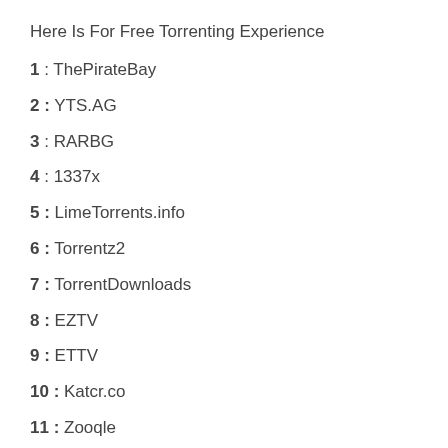Here Is For Free Torrenting Experience
1 : ThePirateBay
2 : YTS.AG
3 : RARBG
4 : 1337x
5 : LimeTorrents.info
6 : Torrentz2
7 : TorrentDownloads
8 : EZTV
9 : ETTV
10 : Katcr.co
11 : Zooqle